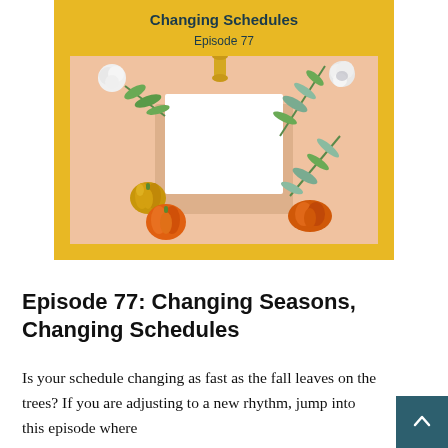Changing Schedules
Episode 77
[Figure (photo): Flat lay photo of autumn/fall seasonal items on a peach/beige background: white cotton flowers, green eucalyptus leaves, a gold glitter pumpkin, a white pumpkin, orange mini pumpkins, and a blank white card/paper in the center.]
Episode 77: Changing Seasons, Changing Schedules
Is your schedule changing as fast as the fall leaves on the trees? If you are adjusting to a new rhythm, jump into this episode where